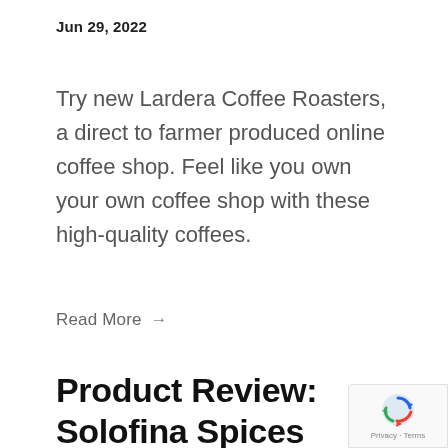Jun 29, 2022
Try new Lardera Coffee Roasters, a direct to farmer produced online coffee shop. Feel like you own your own coffee shop with these high-quality coffees.
Read More →
Product Review: Solofina Spices